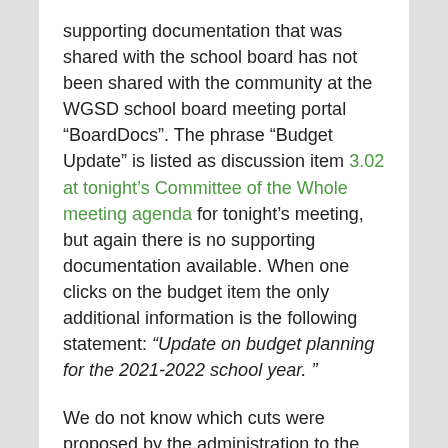supporting documentation that was shared with the school board has not been shared with the community at the WGSD school board meeting portal “BoardDocs”. The phrase “Budget Update” is listed as discussion item 3.02 at tonight’s Committee of the Whole meeting agenda for tonight’s meeting, but again there is no supporting documentation available. When one clicks on the budget item the only additional information is the following statement: “Update on budget planning for the 2021-2022 school year. ”
We do not know which cuts were proposed by the administration to the school board, or what documentation they were given to make